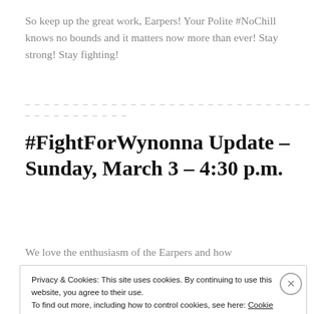So keep up the great work, Earpers! Your Polite #NoChill knows no bounds and it matters now more than ever! Stay strong! Stay fighting!
– – – – – – – – – – – – – – – – – – – – – – – – – – – – – – – – – – – – – – – – – –
#FightForWynonna Update – Sunday, March 3 – 4:30 p.m.
We love the enthusiasm of the Earpers and how
Privacy & Cookies: This site uses cookies. By continuing to use this website, you agree to their use.
To find out more, including how to control cookies, see here: Cookie Policy
Close and accept